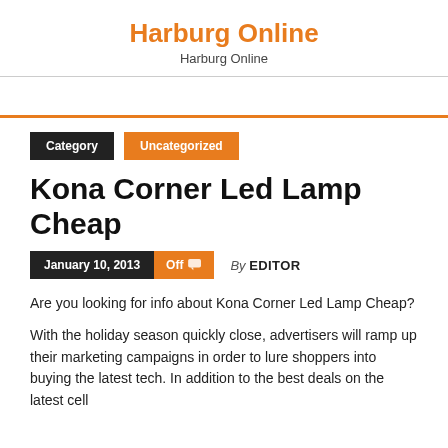Harburg Online
Harburg Online
Category   Uncategorized
Kona Corner Led Lamp Cheap
January 10, 2013   Off   By EDITOR
Are you looking for info about Kona Corner Led Lamp Cheap?
With the holiday season quickly close, advertisers will ramp up their marketing campaigns in order to lure shoppers into buying the latest tech. In addition to the best deals on the latest cell